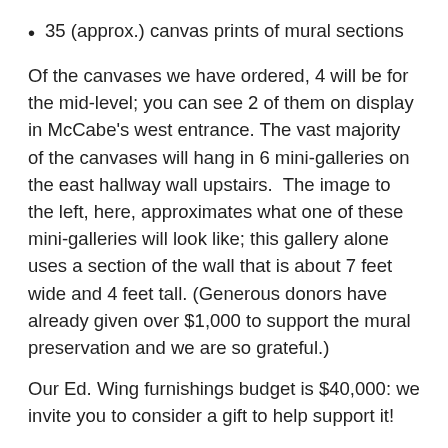35 (approx.) canvas prints of mural sections
Of the canvases we have ordered, 4 will be for the mid-level; you can see 2 of them on display in McCabe’s west entrance. The vast majority of the canvases will hang in 6 mini-galleries on the east hallway wall upstairs.  The image to the left, here, approximates what one of these mini-galleries will look like; this gallery alone uses a section of the wall that is about 7 feet wide and 4 feet tall. (Generous donors have already given over $1,000 to support the mural preservation and we are so grateful.)
Our Ed. Wing furnishings budget is $40,000: we invite you to consider a gift to help support it!
This furnishings budget includes the items in this newsletter update ($1,370 thus far for new lounge seating for the Wesley Room and approx. $1,700 for